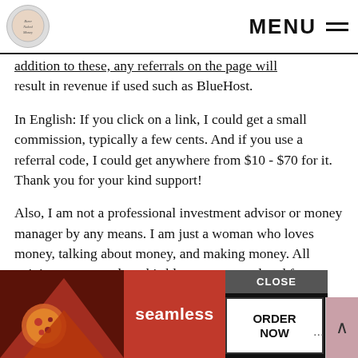MENU
addition to these, any referrals on the page will result in revenue if used such as BlueHost.
In English: If you click on a link, I could get a small commission, typically a few cents. And if you use a referral code, I could get anywhere from $10 - $70 for it. Thank you for your kind support!
Also, I am not a professional investment advisor or money manager by any means. I am just a woman who loves money, talking about money, and making money. All opinions expressed on this blog are personal and for entertainment value. Take them with a grain of salt and...when in doubt
[Figure (screenshot): Seamless food ordering advertisement overlay with pizza image, seamless logo, ORDER NOW button, and CLOSE button]